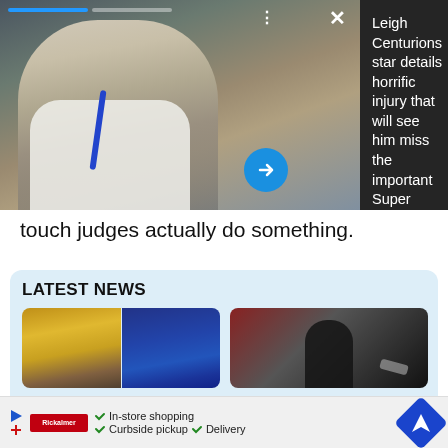[Figure (screenshot): News story card with photo of man in white shirt and dark background showing article headline about Leigh Centurions star injury]
Leigh Centurions star details horrific injury that will see him miss the important Super League promotion run-in - Rugby League News
touch judges actually do something.
LATEST NEWS
[Figure (photo): Composite of two rugby images: left shows Wigan Warriors players in yellow, right shows St Helens players in blue]
Wigan Warriors vs St Helens: 21-man squads, injury news, kick-off time & TV details
[Figure (photo): Rugby league referee in black kit gesturing on the pitch]
Super League refereeing appointments as Ben Thaler given marquee gig
[Figure (screenshot): Advertisement banner with checkmarks for In-store shopping, Curbside pickup, Delivery and navigation icon]